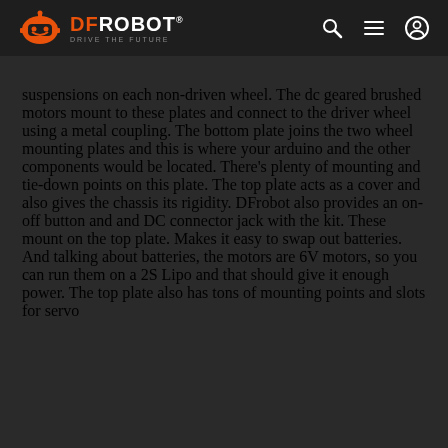DFRobot - Drive the Future
suspensions on each non-driven wheel. The dc geared brushed motors mount to these plates and connect to the driver wheel using a metal coupling. The bottom plate joins the two wheel mounting plates and this is where your arduino and the other components would be located. There’s plenty of mounting and tie-down points on this plate. The top plate acts as a cover and also gives the chassis its rigidity. DFrobot also provides an on-off button and and DC connector jack with the kit. These mount on the top plate. Makes it easy to swap out batteries. And talking about batteries, the motors are 6V motors, so you can run them on a 2S Lipo and that should give it enough power. The top plate also has tons of mounting points and slots for servo